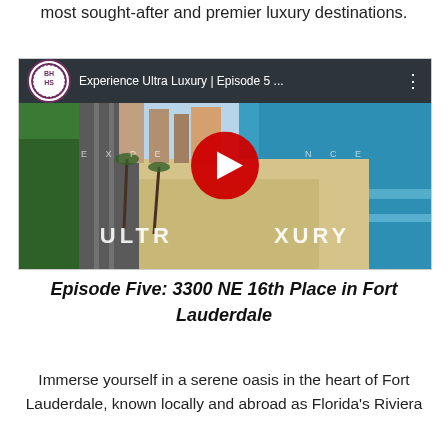most sought-after and premier luxury destinations.
[Figure (screenshot): YouTube video thumbnail showing aerial view of Fort Lauderdale beach with BHHS logo, title 'Experience Ultra Luxury | Episode 5 ...', red play button overlay, and 'ULTRA LUXURY' text on the beach scene.]
Episode Five: 3300 NE 16th Place in Fort Lauderdale
Immerse yourself in a serene oasis in the heart of Fort Lauderdale, known locally and abroad as Florida's Riviera